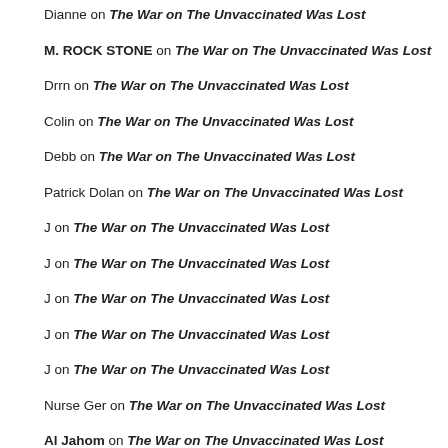Dianne on The War on The Unvaccinated Was Lost
M. ROCK STONE on The War on The Unvaccinated Was Lost
Drrn on The War on The Unvaccinated Was Lost
Colin on The War on The Unvaccinated Was Lost
Debb on The War on The Unvaccinated Was Lost
Patrick Dolan on The War on The Unvaccinated Was Lost
J on The War on The Unvaccinated Was Lost
J on The War on The Unvaccinated Was Lost
J on The War on The Unvaccinated Was Lost
J on The War on The Unvaccinated Was Lost
J on The War on The Unvaccinated Was Lost
Nurse Ger on The War on The Unvaccinated Was Lost
Al Jahom on The War on The Unvaccinated Was Lost